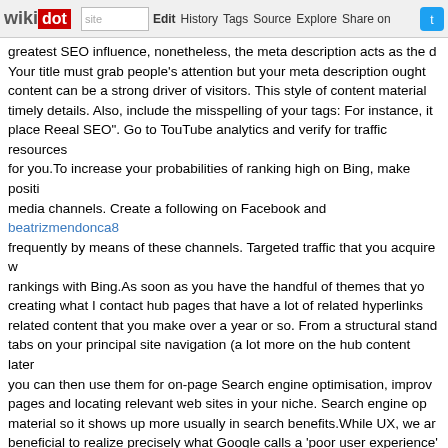wikidot | site | Edit | History | Tags | Source | Explore | Share on
greatest SEO influence, nonetheless, the meta description acts as the d... Your title must grab people's attention but your meta description ought... content can be a strong driver of visitors. This style of content material... timely details. Also, include the misspelling of your tags: For instance, it... place Reeal SEO". Go to TouTube analytics and verify for traffic resources... for you.To increase your probabilities of ranking high on Bing, make positi... media channels. Create a following on Facebook and beatrizmendonca8... frequently by means of these channels. Targeted traffic that you acquire w... rankings with Bing.As soon as you have the handful of themes that yo... creating what I contact hub pages that have a lot of related hyperlinks... related content that you make over a year or so. From a structural stand... tabs on your principal site navigation (a lot more on the hub content later... you can then use them for on-page Search engine optimisation, improv... pages and locating relevant web sites in your niche. Search engine op... material so it shows up more usually in search benefits.While UX, we ar... beneficial to realize precisely what Google calls a 'poor user experience' b... on your web site, that is not going to be a healthy factor for your rank... ranking high and staying in that higher rank. If a web site becomes stagn... Any post that ranks higher will ultimately be beaten by a wholesome site t...
three Guidelines For Maintaining Clarity In Acron... 2018, 06:30
Tags:
Plan your document style in such a way that it will permit text expansio... darrelnieves7170.wikidot.com example, occupies about 20-25% much n... liked this write-up and click through the following post you would certainl...